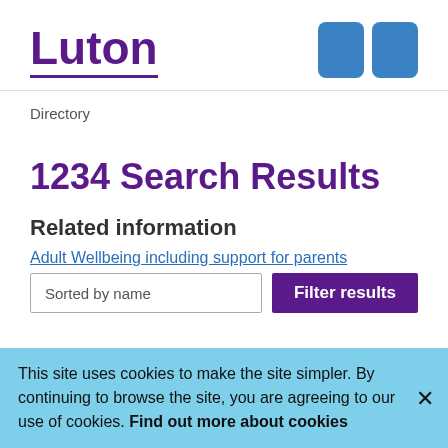Luton
Directory
1234 Search Results
Related information
Adult Wellbeing including support for parents
Sorted by name
Filter results
This site uses cookies to make the site simpler. By continuing to browse the site, you are agreeing to our use of cookies. Find out more about cookies